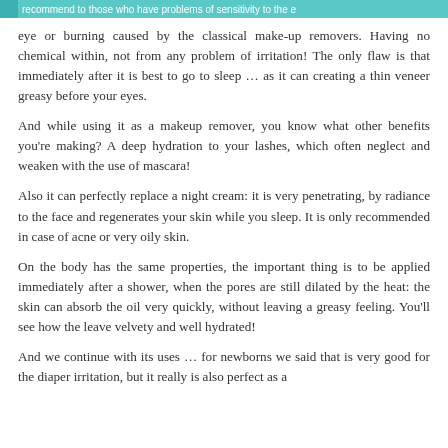recommend to those who have problems of sensitivity to the eye or burning caused by the classical make-up removers. Having no chemical within, not from any problem of irritation! The only flaw is that immediately after it is best to go to sleep … as it can creating a thin veneer greasy before your eyes.
And while using it as a makeup remover, you know what other benefits you're making? A deep hydration to your lashes, which often neglect and weaken with the use of mascara!
Also it can perfectly replace a night cream: it is very penetrating, by radiance to the face and regenerates your skin while you sleep. It is only recommended in case of acne or very oily skin.
On the body has the same properties, the important thing is to be applied immediately after a shower, when the pores are still dilated by the heat: the skin can absorb the oil very quickly, without leaving a greasy feeling. You'll see how the leave velvety and well hydrated!
And we continue with its uses … for newborns we said that is very good for the diaper irritation, but it really is also perfect as a